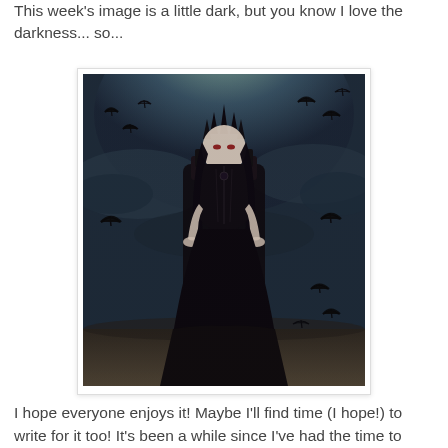This week's image is a little dark, but you know I love the darkness... so...
[Figure (illustration): Gothic fantasy digital illustration of a pale dark-haired woman in a black gown wearing an elaborate spiked crown, seated on a dark throne, surrounded by flying ravens/crows against a stormy grey sky background.]
I hope everyone enjoys it! Maybe I'll find time (I hope!) to write for it too! It's been a while since I've had the time to